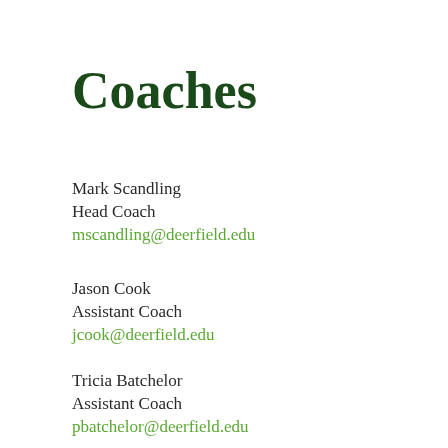Coaches
Mark Scandling
Head Coach
mscandling@deerfield.edu
Jason Cook
Assistant Coach
jcook@deerfield.edu
Tricia Batchelor
Assistant Coach
pbatchelor@deerfield.edu